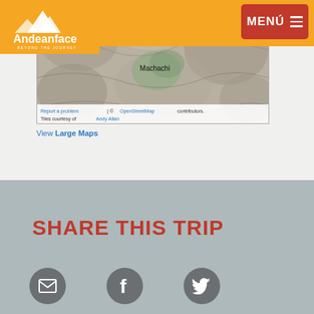Andeanface – BEYOND THE JOURNEY
[Figure (map): Topographic map showing Amaguaña and Machachi areas near Quito, Ecuador with terrain relief shading]
Report a problem | © OpenStreetMap contributors. Tiles courtesy of Andy Allan
View Large Maps
SHARE THIS TRIP
[Figure (illustration): Email icon (envelope) in gray circle]
[Figure (illustration): Facebook icon (f) in gray circle]
[Figure (illustration): Twitter icon (bird) in gray circle]